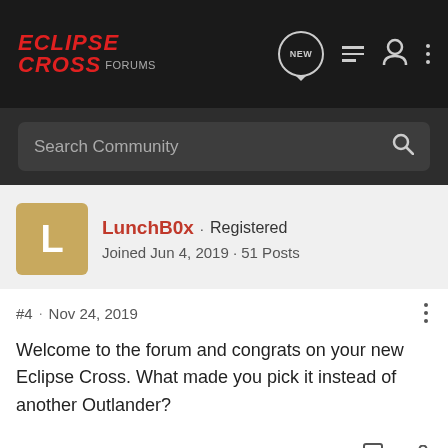ECLIPSE CROSS FORUMS
Search Community
LunchB0x · Registered
Joined Jun 4, 2019 · 51 Posts
#4 · Nov 24, 2019
Welcome to the forum and congrats on your new Eclipse Cross. What made you pick it instead of another Outlander?